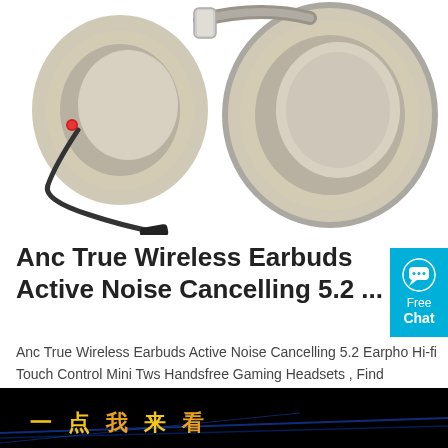[Figure (photo): A gaming/audio headset with beige ear cups, silver frame, and a flexible boom microphone with a red tip]
Anc True Wireless Earbuds Active Noise Cancelling 5.2 ...
Anc True Wireless Earbuds Active Noise Cancelling 5.2 Earphone Hi-fi Touch Control Mini Tws Handsfree Gaming Headsets , Find Complete Details about Anc True Wireless Earbuds Active Noise Cancelling 5.2 Earphone Hi-fi Touch Control Mini Tws Handsfree Gaming Headsets,Earphones Headphones Headsets,Usb Earphones,Cheap Earphones from …
[Figure (other): Free Chat badge — cyan/blue rectangle with chat bubble icon, text 'Free Chat']
[Figure (screenshot): Dark black background with yellow/orange Chinese or decorative text and blue light streaks]
Get Price